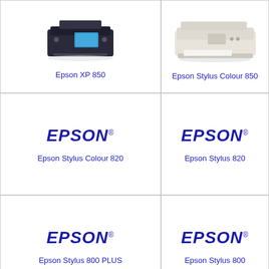[Figure (photo): Epson XP 850 all-in-one printer, dark colored, angled view]
Epson XP 850
[Figure (photo): Epson Stylus Colour 850 printer, white/beige color, side view]
Epson Stylus Colour 850
[Figure (logo): Epson brand logo]
Epson Stylus Colour 820
[Figure (logo): Epson brand logo]
Epson Stylus 820
[Figure (logo): Epson brand logo]
Epson Stylus 800 PLUS
[Figure (logo): Epson brand logo]
Epson Stylus 800